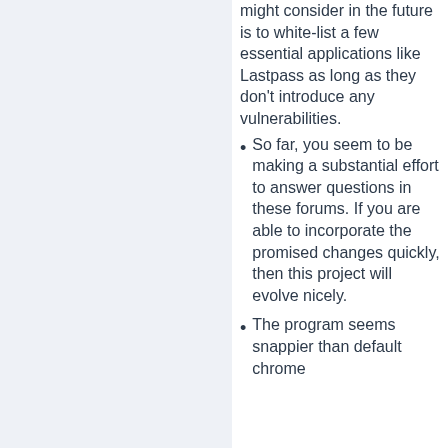the future is to white-list a few essential applications like Lastpass as long as they don't introduce any vulnerabilities.
So far, you seem to be making a substantial effort to answer questions in these forums. If you are able to incorporate the promised changes quickly, then this project will evolve nicely.
The program seems snappier than default chrome